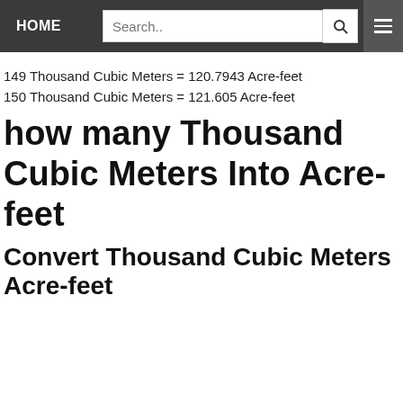HOME | Search.. | [search button] | [menu]
149 Thousand Cubic Meters = 120.7943 Acre-feet
150 Thousand Cubic Meters = 121.605 Acre-feet
how many Thousand Cubic Meters Into Acre-feet
Convert Thousand Cubic Meters
Acre-feet